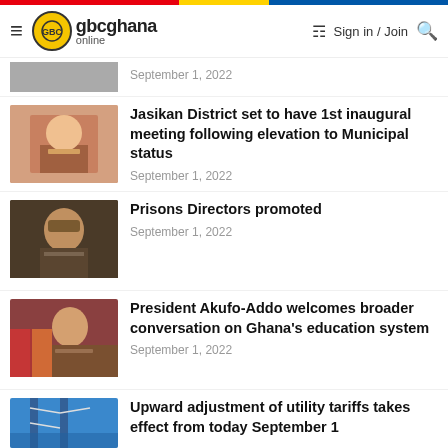gbcghana online — Sign in / Join
September 1, 2022
[Figure (photo): Man at podium in patterned shirt]
Jasikan District set to have 1st inaugural meeting following elevation to Municipal status
September 1, 2022
[Figure (photo): Prison official in brown uniform seated]
Prisons Directors promoted
September 1, 2022
[Figure (photo): President Akufo-Addo at podium with flags]
President Akufo-Addo welcomes broader conversation on Ghana's education system
September 1, 2022
[Figure (photo): Power transmission tower against blue sky]
Upward adjustment of utility tariffs takes effect from today September 1